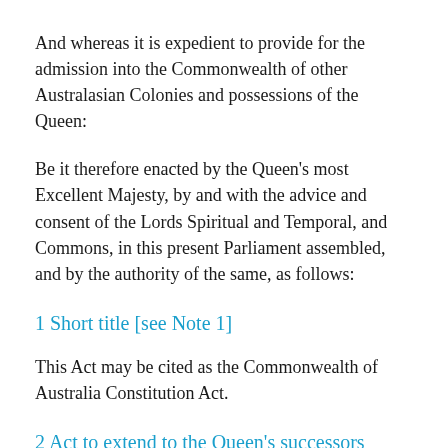And whereas it is expedient to provide for the admission into the Commonwealth of other Australasian Colonies and possessions of the Queen:
Be it therefore enacted by the Queen's most Excellent Majesty, by and with the advice and consent of the Lords Spiritual and Temporal, and Commons, in this present Parliament assembled, and by the authority of the same, as follows:
1 Short title [see Note 1]
This Act may be cited as the Commonwealth of Australia Constitution Act.
2 Act to extend to the Queen's successors
The provisions of this Act referring to the Queen shall extend to Her Majesty's heirs and successors in the sovereignty of the United Kingdom…